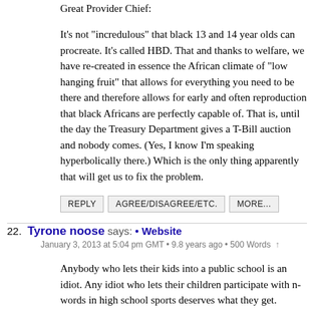Great Provider Chief:
It's not "incredulous" that black 13 and 14 year olds can procreate. It's called HBD. That and thanks to welfare, we have re-created in essence the African climate of "low hanging fruit" that allows for everything you need to be there and therefore allows for early and often reproduction that black Africans are perfectly capable of. That is, until the day the Treasury Department gives a T-Bill auction and nobody comes. (Yes, I know I'm speaking hyperbolically there.) Which is the only thing apparently that will get us to fix the problem.
REPLY
AGREE/DISAGREE/ETC.
MORE...
22. Tyrone noose says: • Website
January 3, 2013 at 5:04 pm GMT • 9.8 years ago • 500 Words ↑
Anybody who lets their kids into a public school is an idiot. Any idiot who lets their children participate with n-words in high school sports deserves what they get.